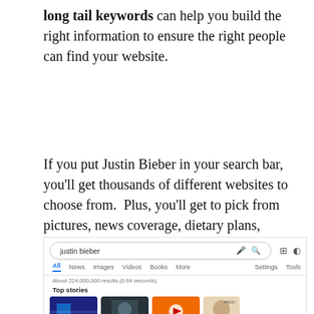long tail keywords can help you build the right information to ensure the right people can find your website.
If you put Justin Bieber in your search bar, you'll get thousands of different websites to choose from.  Plus, you'll get to pick from pictures, news coverage, dietary plans, concert visits, and probably even his underwear size.
[Figure (screenshot): Google search results screenshot for 'justin bieber' showing search bar, navigation tabs (All, News, Images, Videos, Books, More, Settings, Tools), result count 'About 224,000,000 results (0.64 seconds)', Top stories section with thumbnail images of Justin Bieber]